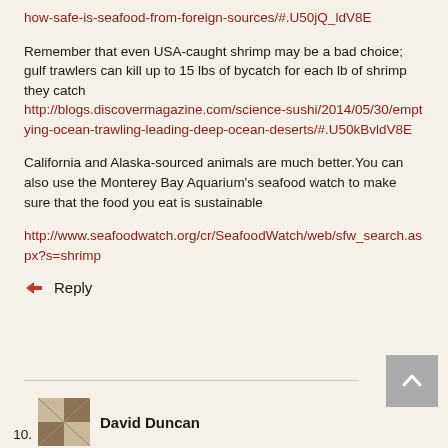how-safe-is-seafood-from-foreign-sources/#.U50jQ_ldV8E
Remember that even USA-caught shrimp may be a bad choice; gulf trawlers can kill up to 15 lbs of bycatch for each lb of shrimp they catch
http://blogs.discovermagazine.com/science-sushi/2014/05/30/emptying-ocean-trawling-leading-deep-ocean-deserts/#.U50kBvldV8E
California and Alaska-sourced animals are much better. You can also use the Monterey Bay Aquarium's seafood watch to make sure that the food you eat is sustainable
http://www.seafoodwatch.org/cr/SeafoodWatch/web/sfw_search.aspx?s=shrimp
↳  Reply
10.  David Duncan